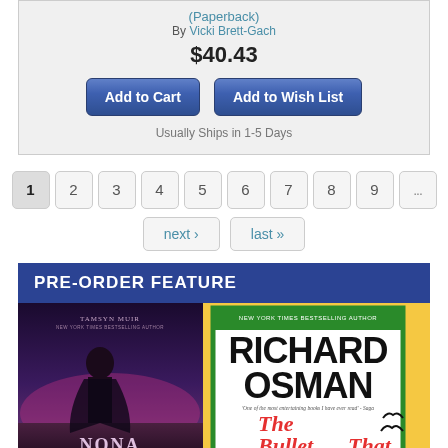(Paperback)
By Vicki Brett-Gach
$40.43
Add to Cart
Add to Wish List
Usually Ships in 1-5 Days
1
2
3
4
5
6
7
8
9
...
next ›
last »
PRE-ORDER FEATURE
[Figure (photo): Two book covers on a yellow background: left is a dark fantasy novel by Tamsyn Muir showing a figure on a purple/dark sky background (title 'Nona'); right is Richard Osman's 'The Bullet That...' with a white cover featuring bold black text and red script title]